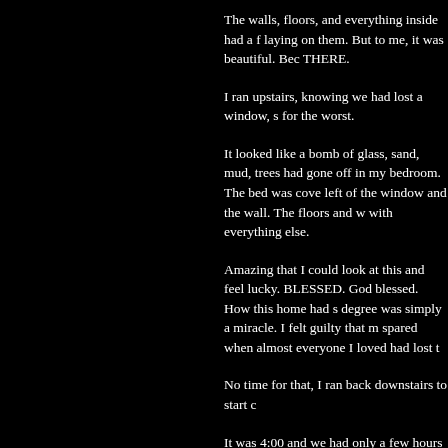The walls, floors, and everything inside had a f laying on them. But to me, it was beautiful. Bec THERE.
I ran upstairs, knowing we had lost a window, s for the worst.
It looked like a bomb of glass, sand, mud, trees had gone off in my bedroom. The bed was cove left of the window and the wall. The floors and w with everything else.
Amazing that I could look at this and feel lucky. BLESSED. God blessed. How this home had s degree was simply a miracle. I felt guilty that m spared when almost everyone I loved had lost t
No time for that, I ran back downstairs to start c
It was 4:00 and we had only a few hours of day downstairs clean and dry so we could sleep in t
We ran over to the Command Center to check